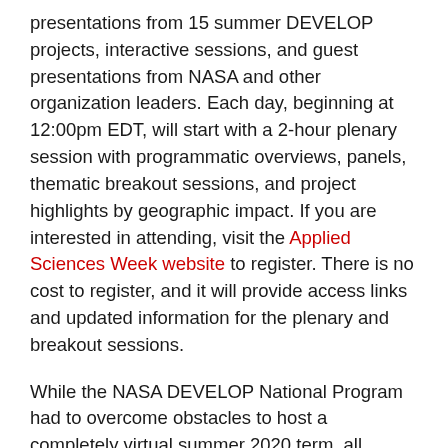presentations from 15 summer DEVELOP projects, interactive sessions, and guest presentations from NASA and other organization leaders. Each day, beginning at 12:00pm EDT, will start with a 2-hour plenary session with programmatic overviews, panels, thematic breakout sessions, and project highlights by geographic impact. If you are interested in attending, visit the Applied Sciences Week website to register. There is no cost to register, and it will provide access links and updated information for the plenary and breakout sessions.
While the NASA DEVELOP National Program had to overcome obstacles to host a completely virtual summer 2020 term, all participants in the program learned new technologies, received technical training, and gained exposure to working with emerging remote sensing and geographic information system technologies. In addition to building capacity within the program's participants, DEVELOP built the capacity of the organizations partnered with the 15 projects this summer by demonstrating how NASA Earth observations can be utilized to address environmental community concerns around the